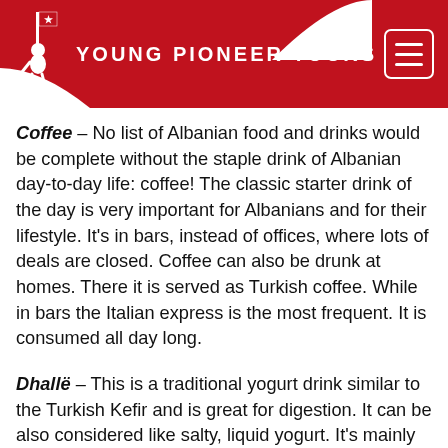Young Pioneer Tours
Coffee – No list of Albanian food and drinks would be complete without the staple drink of Albanian day-to-day life: coffee! The classic starter drink of the day is very important for Albanians and for their lifestyle. It's in bars, instead of offices, where lots of deals are closed. Coffee can also be drunk at homes. There it is served as Turkish coffee. While in bars the Italian express is the most frequent. It is consumed all day long.
Dhallë – This is a traditional yogurt drink similar to the Turkish Kefir and is great for digestion. It can be also considered like salty, liquid yogurt. It's mainly consumed cold during the summer alongside a hearty Albanian meal.
Bozë – A drink that features heavily all over the Balkans, but